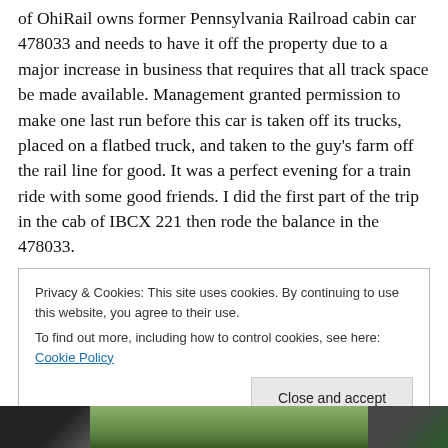of OhiRail owns former Pennsylvania Railroad cabin car 478033 and needs to have it off the property due to a major increase in business that requires that all track space be made available. Management granted permission to make one last run before this car is taken off its trucks, placed on a flatbed truck, and taken to the guy's farm off the rail line for good. It was a perfect evening for a train ride with some good friends. I did the first part of the trip in the cab of IBCX 221 then rode the balance in the 478033.
Privacy & Cookies: This site uses cookies. By continuing to use this website, you agree to their use.
To find out more, including how to control cookies, see here: Cookie Policy
[Figure (photo): Bottom strip showing a partial outdoor photo with trees and dark elements visible at the bottom of the page.]